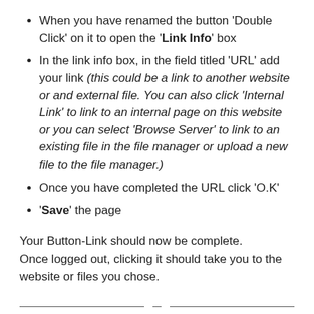When you have renamed the button 'Double Click' on it to open the 'Link Info' box
In the link info box, in the field titled 'URL' add your link (this could be a link to another website or and external file. You can also click 'Internal Link' to link to an internal page on this website or you can select 'Browse Server' to link to an existing file in the file manager or upload a new file to the file manager.)
Once you have completed the URL click 'O.K'
'Save' the page
Your Button-Link should now be complete. Once logged out, clicking it should take you to the website or files you chose.